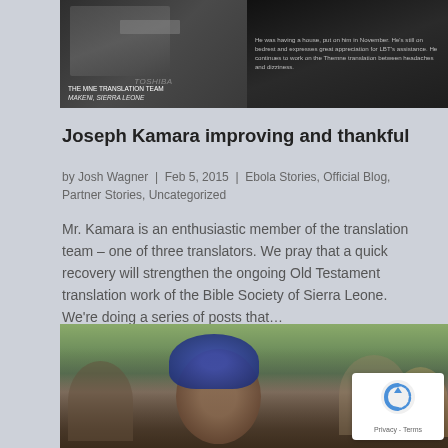[Figure (photo): Photo of the Themne Translation Team in Makeni, Sierra Leone, with a laptop visible. Right side has text about an individual on bedrest expressing appreciation for LBT's assistance and continuing to work on the Themne translation between headaches and dizziness.]
Joseph Kamara improving and thankful
by Josh Wagner  |  Feb 5, 2015  |  Ebola Stories, Official Blog, Partner Stories, Uncategorized
Mr. Kamara is an enthusiastic member of the translation team – one of three translators. We pray that a quick recovery will strengthen the ongoing Old Testament translation work of the Bible Society of Sierra Leone. We're doing a series of posts that…
[Figure (photo): Photo of a crowd of African people outdoors, with a woman in a blue patterned head wrap prominently featured in the foreground, smiling. A reCAPTCHA privacy badge is overlaid in the bottom right corner.]